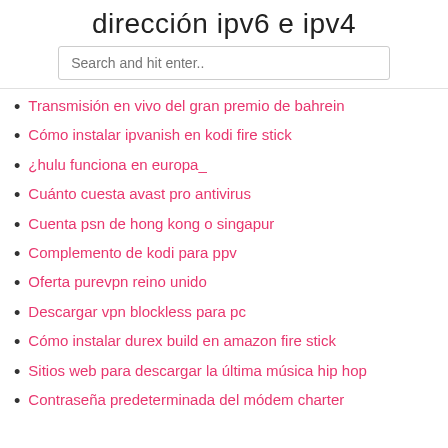dirección ipv6 e ipv4
Search and hit enter..
Transmisión en vivo del gran premio de bahrein
Cómo instalar ipvanish en kodi fire stick
¿hulu funciona en europa_
Cuánto cuesta avast pro antivirus
Cuenta psn de hong kong o singapur
Complemento de kodi para ppv
Oferta purevpn reino unido
Descargar vpn blockless para pc
Cómo instalar durex build en amazon fire stick
Sitios web para descargar la última música hip hop
Contraseña predeterminada del módem charter